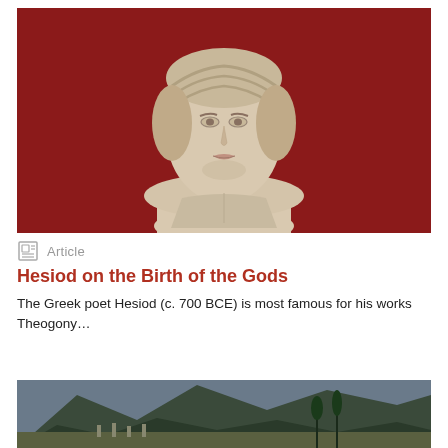[Figure (photo): Marble bust/statue of a woman with braided hair against a deep red background, possibly a Greek or Roman sculpture]
Article
Hesiod on the Birth of the Gods
The Greek poet Hesiod (c. 700 BCE) is most famous for his works Theogony…
[Figure (photo): Landscape photo of ancient ruins (possibly Delphi) set against forested mountains]